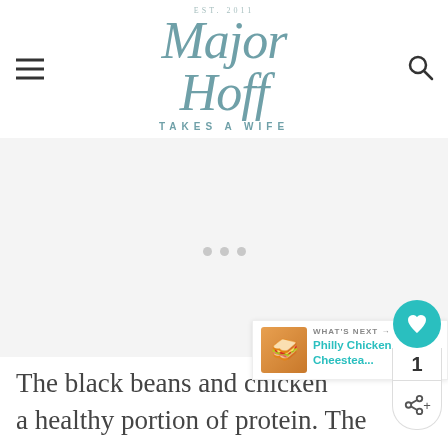Major Hoff Takes a Wife — Est. 2011
[Figure (other): Advertisement placeholder area with three gray dots centered]
The black beans and chicken a healthy portion of protein. The